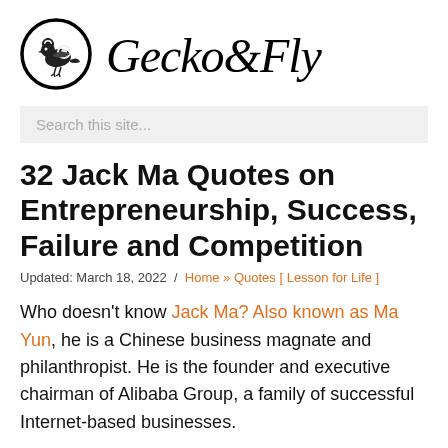Gecko&Fly
Search this site...
32 Jack Ma Quotes on Entrepreneurship, Success, Failure and Competition
Updated: March 18, 2022 / Home » Quotes [ Lesson for Life ]
Who doesn't know Jack Ma? Also known as Ma Yun, he is a Chinese business magnate and philanthropist. He is the founder and executive chairman of Alibaba Group, a family of successful Internet-based businesses.